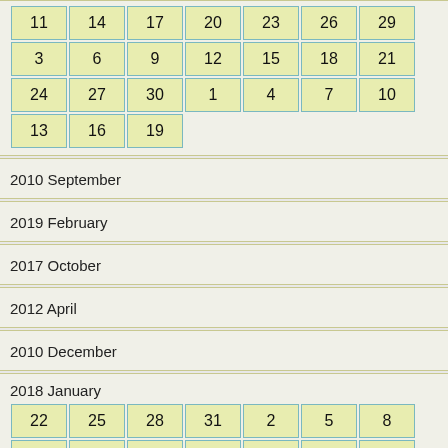| 11 | 14 | 17 | 20 | 23 | 26 | 29 |
| 3 | 6 | 9 | 12 | 15 | 18 | 21 |
| 24 | 27 | 30 | 1 | 4 | 7 | 10 |
| 13 | 16 | 19 |  |  |  |  |
2010 September
2019 February
2017 October
2012 April
2010 December
2018 January
| 22 | 25 | 28 | 31 | 2 | 5 | 8 |
| 11 | 14 | 17 | 20 | 23 | 26 | 29 |
| 3 | 6 | 9 | 12 | 15 | 18 | 21 |
| 24 | 27 | 30 | 1 | 4 | 7 | 10 |
| 13 | 16 | 19 |  |  |  |  |